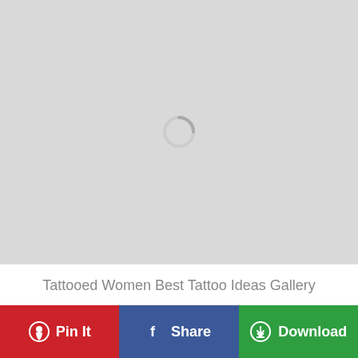[Figure (illustration): Light gray placeholder image area with a circular loading spinner icon in the center]
Tattooed Women Best Tattoo Ideas Gallery
Pin It
Share
Download